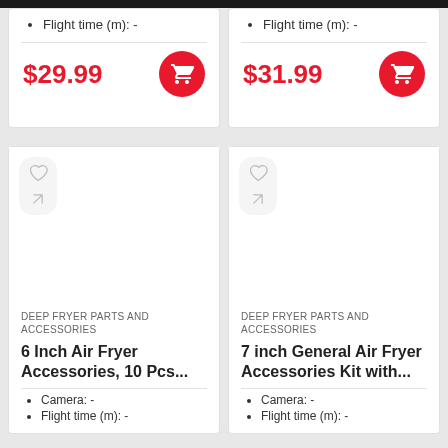Flight time (m): -
$29.99
Flight time (m): -
$31.99
[Figure (screenshot): Product card image area with wishlist (heart) and compare (crossed arrows) icons, empty product image area for 6 Inch Air Fryer Accessories]
DEEP FRYER PARTS AND ACCESSORIES
6 Inch Air Fryer Accessories, 10 Pcs...
Camera: -
Flight time (m): -
[Figure (screenshot): Product card image area with wishlist (heart) and compare (crossed arrows) icons, empty product image area for 7 inch General Air Fryer Accessories Kit]
DEEP FRYER PARTS AND ACCESSORIES
7 inch General Air Fryer Accessories Kit with...
Camera: -
Flight time (m): -